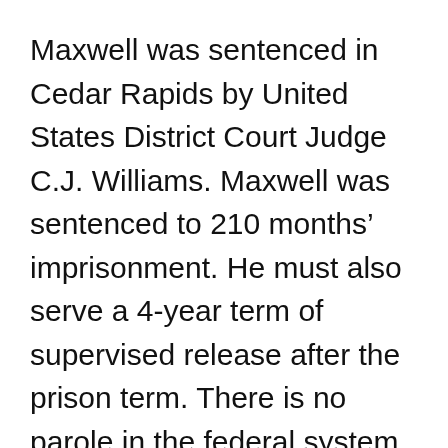Maxwell was sentenced in Cedar Rapids by United States District Court Judge C.J. Williams. Maxwell was sentenced to 210 months’ imprisonment. He must also serve a 4-year term of supervised release after the prison term. There is no parole in the federal system.
Maxwell is being held in the United States Marshal’s custody until he can